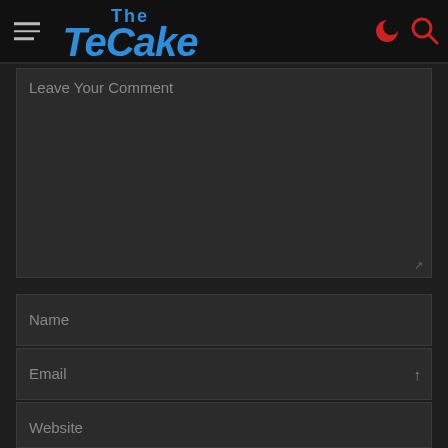[Figure (logo): The TeCake website logo in blue bold italic text with hamburger menu icon on the left and red notification/search icons on the right, on a dark header bar]
Leave Your Comment
Name
Email
Website